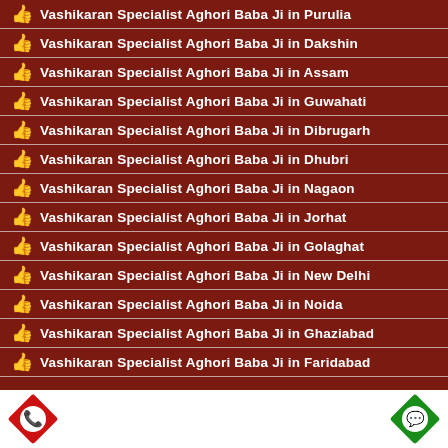Vashikaran Specialist Aghori Baba Ji in Purulia
Vashikaran Specialist Aghori Baba Ji in Dakshin
Vashikaran Specialist Aghori Baba Ji in Assam
Vashikaran Specialist Aghori Baba Ji in Guwahati
Vashikaran Specialist Aghori Baba Ji in Dibrugarh
Vashikaran Specialist Aghori Baba Ji in Dhubri
Vashikaran Specialist Aghori Baba Ji in Nagaon
Vashikaran Specialist Aghori Baba Ji in Jorhat
Vashikaran Specialist Aghori Baba Ji in Golaghat
Vashikaran Specialist Aghori Baba Ji in New Delhi
Vashikaran Specialist Aghori Baba Ji in Noida
Vashikaran Specialist Aghori Baba Ji in Ghaziabad
Vashikaran Specialist Aghori Baba Ji in Faridabad
[Figure (logo): Red call icon (phone receiver with signal waves) on a red diamond/rotated square background]
[Figure (logo): WhatsApp icon (white phone on green background) on a green diamond/rotated square background]